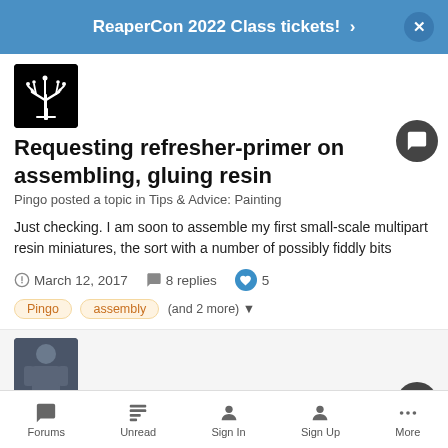ReaperCon 2022 Class tickets!
[Figure (screenshot): Avatar image: white tree on black background (Gondor/LOTR style)]
Requesting refresher-primer on assembling, gluing resin
Pingo posted a topic in Tips & Advice: Painting
Just checking. I am soon to assemble my first small-scale multipart resin miniatures, the sort with a number of possibly fiddly bits
March 12, 2017   8 replies   5
Pingo
assembly
(and 2 more)
[Figure (photo): Second post avatar: person in armor/costume]
Requesting refresher-primer on assembling
Forums   Unread   Sign In   Sign Up   More